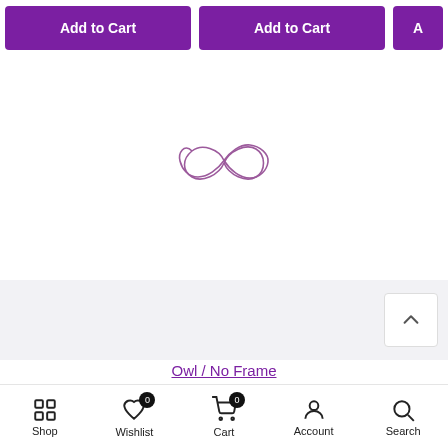[Figure (screenshot): Two purple 'Add to Cart' buttons side by side at the top, with a third partially visible on the right]
[Figure (illustration): Infinity symbol outline in purple/mauve color, centered in page]
[Figure (screenshot): Gray background section with a white back-to-top chevron button on the right]
Owl / No Frame
[Figure (screenshot): Quantity selector with minus, 1, plus and a large purple ADD TO CART button]
Shop  Wishlist 0  Cart 0  Account  Search